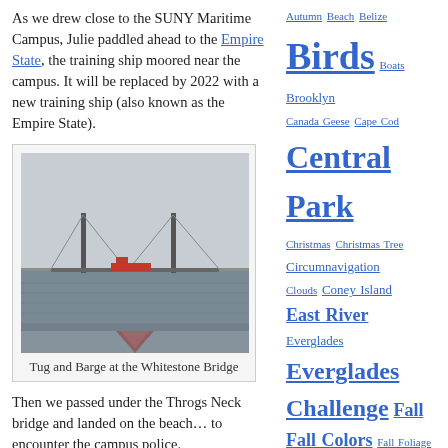As we drew close to the SUNY Maritime Campus, Julie paddled ahead to the Empire State, the training ship moored near the campus. It will be replaced by 2022 with a new training ship (also known as the Empire State).
[Figure (photo): Photo of a tug and barge at the Whitestone Bridge, taken from a kayak with a red bow visible in the foreground.]
Tug and Barge at the Whitestone Bridge
Then we passed under the Throgs Neck bridge and landed on the beach… to encounter the campus police.
Autumn
Beach
Belize
Birds
Boats
Brooklyn
Canada Geese
Cape Cod
Central Park
Christmas
Christmas Tree
Circumnavigation
Clouds
Coney Island
East River
Everglades
Everglades Challenge
Fall
Fall Colors
Fall Foliage Colors
Florida
Florida Kayaking
Flowers
Halloween
Harlem River
Hudson River
Kayak Camping
Kayak Expeditions
Kayaking
Kayak Photography
Kayak Race
Kayak Sailing
Long-Distance Swim
Long Island